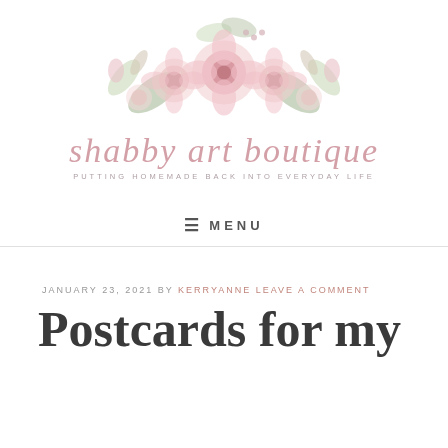[Figure (logo): Shabby Art Boutique logo with watercolor pink roses bouquet and cursive calligraphy text 'shabby art boutique' with tagline 'PUTTING HOMEMADE BACK INTO EVERYDAY LIFE']
≡ MENU
JANUARY 23, 2021 BY KERRYANNE LEAVE A COMMENT
Postcards for my